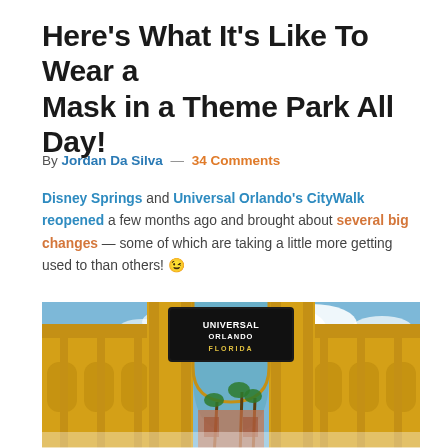Here's What It's Like To Wear a Mask in a Theme Park All Day!
By Jordan Da Silva — 34 Comments
Disney Springs and Universal Orlando's CityWalk reopened a few months ago and brought about several big changes — some of which are taking a little more getting used to than others! 😉
[Figure (photo): Universal Orlando entrance gate with yellow arched facade, blue sky with clouds, and palm trees visible through the arch]